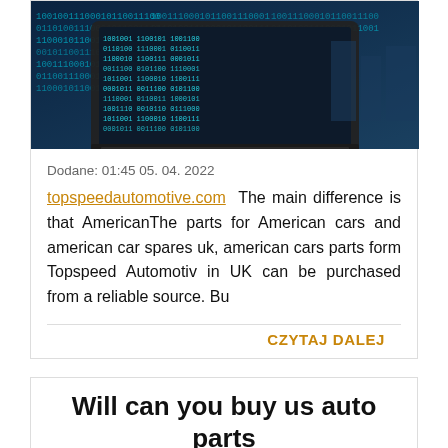[Figure (photo): Laptop with binary code on screen and city skyline in background]
Dodane: 01:45 05. 04. 2022
topspeedautomotive.com The main difference is that AmericanThe parts for American cars and american car spares uk, american cars parts form Topspeed Automotiv in UK can be purchased from a reliable source. Bu
CZYTAJ DALEJ
Will can you buy us auto parts yourself?